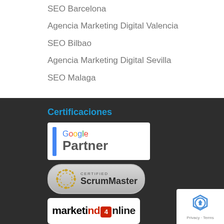SEO Barcelona
Agencia Marketing Digital Valencia
SEO Bilbao
Agencia Marketing Digital Sevilla
SEO Malaga
Certificaciones
[Figure (logo): Google Partner badge with blue vertical bar and Google Partner text]
[Figure (logo): Certified ScrumMaster badge with dotted circular logo and gradient background]
[Figure (logo): marketingOnline logo with red stylized O and number 4]
[Figure (logo): reCAPTCHA badge showing recycling arrows icon with Privacy and Terms text]